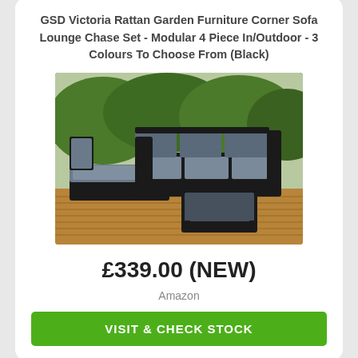GSD Victoria Rattan Garden Furniture Corner Sofa Lounge Chase Set - Modular 4 Piece In/Outdoor - 3 Colours To Choose From (Black)
[Figure (photo): Black rattan corner sofa lounge set with grey cushions and a glass-top coffee table, displayed on a wooden deck with greenery in the background.]
£339.00 (NEW)
Amazon
VISIT & CHECK STOCK